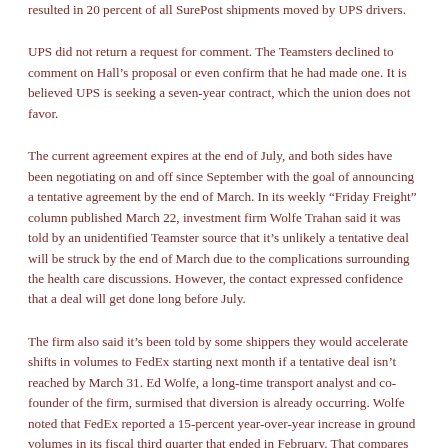resulted in 20 percent of all SurePost shipments moved by UPS drivers.
UPS did not return a request for comment. The Teamsters declined to comment on Hall’s proposal or even confirm that he had made one. It is believed UPS is seeking a seven-year contract, which the union does not favor.
The current agreement expires at the end of July, and both sides have been negotiating on and off since September with the goal of announcing a tentative agreement by the end of March. In its weekly “Friday Freight” column published March 22, investment firm Wolfe Trahan said it was told by an unidentified Teamster source that it’s unlikely a tentative deal will be struck by the end of March due to the complications surrounding the health care discussions. However, the contact expressed confidence that a deal will get done long before July.
The firm also said it’s been told by some shippers they would accelerate shifts in volumes to FedEx starting next month if a tentative deal isn’t reached by March 31. Ed Wolfe, a long-time transport analyst and co-founder of the firm, surmised that diversion is already occurring. Wolfe noted that FedEx reported a 15-percent year-over-year increase in ground volumes in its fiscal third quarter that ended in February. That compares to year-over-year gains of 11 and 8 percent, respectively,